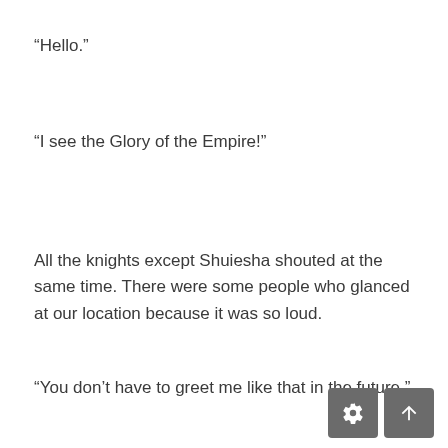“Hello.”
“I see the Glory of the Empire!”
All the knights except Shuiesha shouted at the same time. There were some people who glanced at our location because it was so loud.
“You don’t have to greet me like that in the future.”